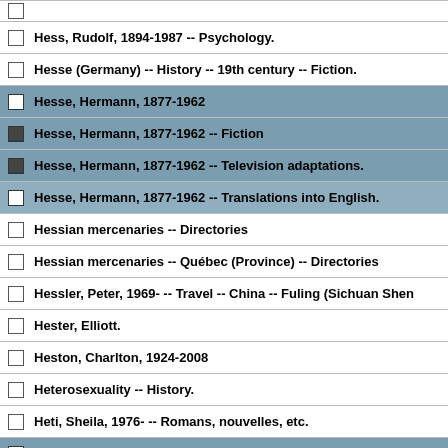Hess, Rudolf, 1894-1987 -- Psychology.
Hesse (Germany) -- History -- 19th century -- Fiction.
Hesse, Hermann, 1877-1962
Hesse, Hermann, 1877-1962 -- Fiction
Hesse, Hermann, 1877-1962 -- Television adaptations.
Hesse, Hermann, 1877-1962 -- Translations into English.
Hessian mercenaries -- Directories
Hessian mercenaries -- Québec (Province) -- Directories
Hessler, Peter, 1969- -- Travel -- China -- Fuling (Sichuan Shen
Hester, Elliott.
Heston, Charlton, 1924-2008
Heterosexuality -- History.
Heti, Sheila, 1976- -- Romans, nouvelles, etc.
Hettinger, Karl, d. 1994.
Heuze, Marcel, 1912-1992 -- Correspondence.